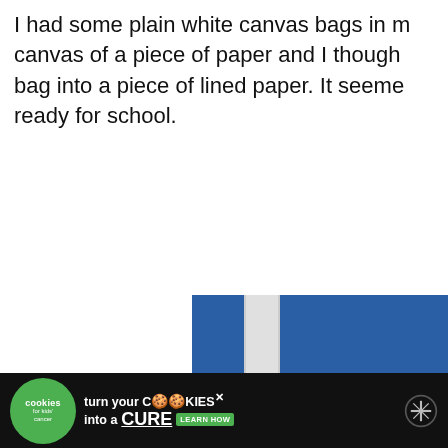I had some plain white canvas bags in my canvas of a piece of paper and I thought bag into a piece of lined paper. It seemed ready for school.
[Figure (photo): A blue canvas tote bag with a white shoulder strap, a black patch with text 'A+ HO' and a silver rivet, and a patterned pen. UI overlays show a blue heart button, a badge with number '1', and a blue share button.]
[Figure (photo): Advertisement banner: dark background with a green circular cookie-for-kids-cancer logo, text 'turn your COOKIES into a CURE LEARN HOW' and a network/antenna icon on the right.]